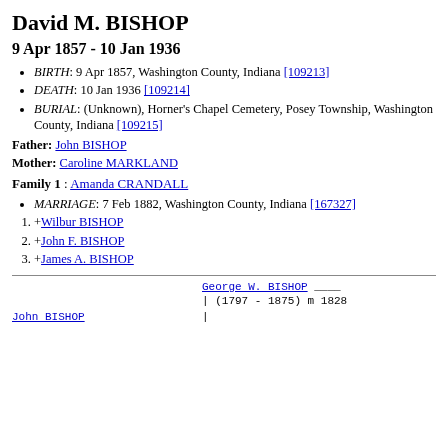David M. BISHOP
9 Apr 1857 - 10 Jan 1936
BIRTH: 9 Apr 1857, Washington County, Indiana [109213]
DEATH: 10 Jan 1936 [109214]
BURIAL: (Unknown), Horner's Chapel Cemetery, Posey Township, Washington County, Indiana [109215]
Father: John BISHOP
Mother: Caroline MARKLAND
Family 1 : Amanda CRANDALL
MARRIAGE: 7 Feb 1882, Washington County, Indiana [167327]
1. +Wilbur BISHOP
2. +John F. BISHOP
3. +James A. BISHOP
[Figure (other): Pedigree chart showing George W. BISHOP (1797-1875) m 1828, with John BISHOP below]